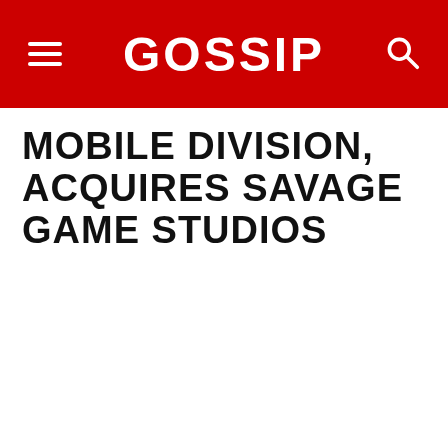GOSSIP
MOBILE DIVISION, ACQUIRES SAVAGE GAME STUDIOS